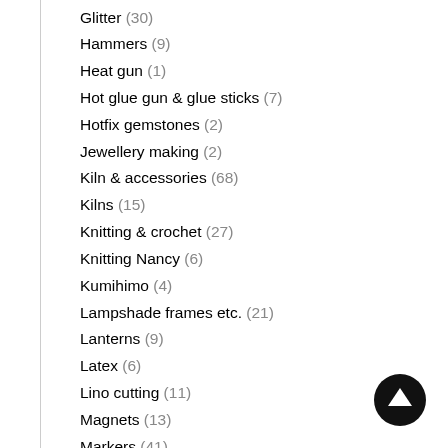Glitter (30)
Hammers (9)
Heat gun (1)
Hot glue gun & glue sticks (7)
Hotfix gemstones (2)
Jewellery making (2)
Kiln & accessories (68)
Kilns (15)
Knitting & crochet (27)
Knitting Nancy (6)
Kumihimo (4)
Lampshade frames etc. (21)
Lanterns (9)
Latex (6)
Lino cutting (11)
Magnets (13)
Markers (41)
Mask (10)
Metal blanks for embossing (12)
Metal foil (72)
Miniature (34)
Mixed media (19)
Mobiles (3)